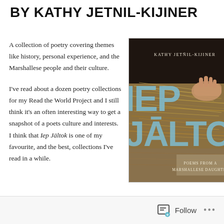BY KATHY JETNIL-KIJINER
A collection of poetry covering themes like history, personal experience, and the Marshallese people and their culture.
I've read about a dozen poetry collections for my Read the World Project and I still think it's an often interesting way to get a snapshot of a poets culture and interests. I think that Iep Jāltok is one of my favourite, and the best, collections I've read in a while.
[Figure (photo): Book cover of 'Iep Jāltok: Poems from a Marshallese Daughter' by Kathy Jetñil-Kijiner. Dark background with large light-blue text showing partial words 'IEP' and 'JĀLTOK', with a hand weaving straw/palm fronds, and subtitle text 'POEMS FROM A MARSHALLESE DAUGHTER' at the bottom.]
Follow ...